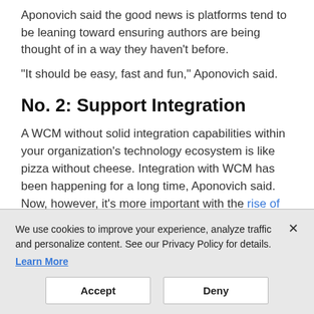Aponovich said the good news is platforms tend to be leaning toward ensuring authors are being thought of in a way they haven't before.
“It should be easy, fast and fun,” Aponovich said.
No. 2: Support Integration
A WCM without solid integration capabilities within your organization’s technology ecosystem is like pizza without cheese. Integration with WCM has been happening for a long time, Aponovich said. Now, however, it’s more important with the rise of so many tools.
We use cookies to improve your experience, analyze traffic and personalize content. See our Privacy Policy for details.
Learn More
Accept
Deny